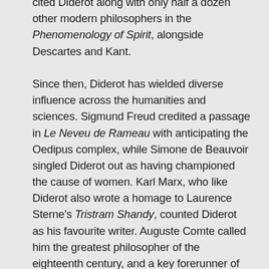cited Diderot along with only half a dozen other modern philosophers in the Phenomenology of Spirit, alongside Descartes and Kant.

Since then, Diderot has wielded diverse influence across the humanities and sciences. Sigmund Freud credited a passage in Le Neveu de Rameau with anticipating the Oedipus complex, while Simone de Beauvoir singled Diderot out as having championed the cause of women. Karl Marx, who like Diderot also wrote a homage to Laurence Sterne's Tristram Shandy, counted Diderot as his favourite writer. Auguste Comte called him the greatest philosopher of the eighteenth century, and a key forerunner of positivism. The pioneering